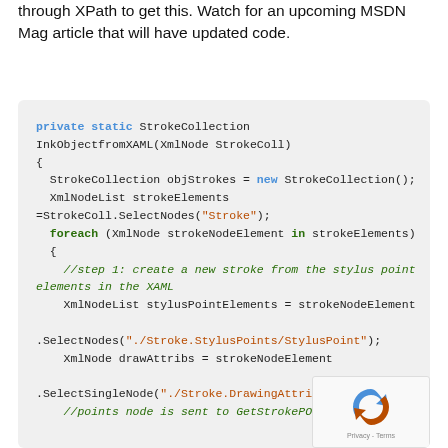through XPath to get this. Watch for an upcoming MSDN Mag article that will have updated code.
[Figure (screenshot): Code block showing a C# private static method InkObjectfromXAML that takes an XmlNode StrokeColl parameter and processes stroke elements from XAML, with syntax highlighting in blue, green, and dark red colors on a light grey background.]